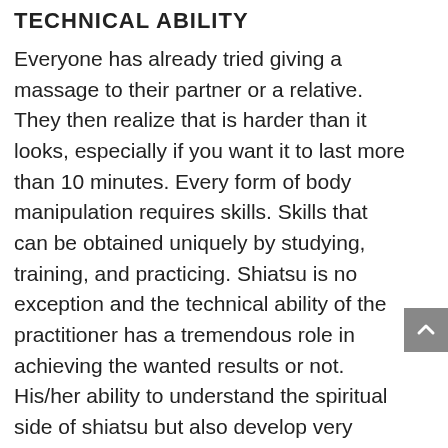TECHNICAL ABILITY
Everyone has already tried giving a massage to their partner or a relative. They then realize that is harder than it looks, especially if you want it to last more than 10 minutes. Every form of body manipulation requires skills. Skills that can be obtained uniquely by studying, training, and practicing. Shiatsu is no exception and the technical ability of the practitioner has a tremendous role in achieving the wanted results or not. His/her ability to understand the spiritual side of shiatsu but also develop very concrete technical skills is fundamental.